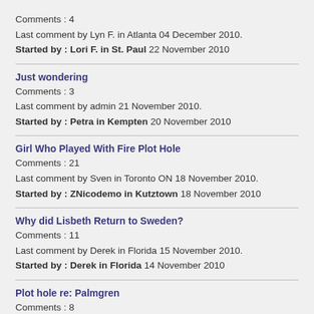Comments : 4
Last comment by Lyn F. in Atlanta 04 December 2010.
Started by : Lori F. in St. Paul 22 November 2010
Just wondering
Comments : 3
Last comment by admin 21 November 2010.
Started by : Petra in Kempten 20 November 2010
Girl Who Played With Fire Plot Hole
Comments : 21
Last comment by Sven in Toronto ON 18 November 2010.
Started by : ZNicodemo in Kutztown 18 November 2010
Why did Lisbeth Return to Sweden?
Comments : 11
Last comment by Derek in Florida 15 November 2010.
Started by : Derek in Florida 14 November 2010
Plot hole re: Palmgren
Comments : 8
Last comment by benwasheare 10 November 2010.
Started by : MS in asia 06 November 2010
i dont understand this part